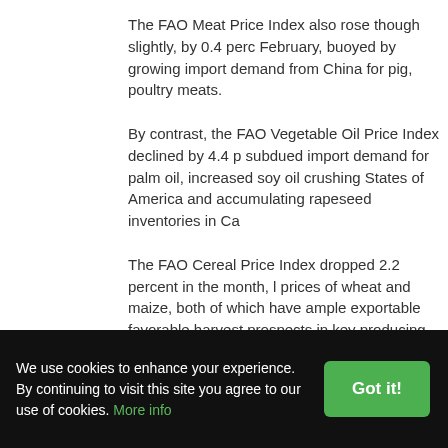The FAO Meat Price Index also rose though slightly, by 0.4 percent in February, buoyed by growing import demand from China for pig, and poultry meats.
By contrast, the FAO Vegetable Oil Price Index declined by 4.4 percent, subdued import demand for palm oil, increased soy oil crushing in the United States of America and accumulating rapeseed inventories in Canada.
The FAO Cereal Price Index dropped 2.2 percent in the month, led by prices of wheat and maize, both of which have ample exportable supplies and favorable harvest prospects in key producing countries. International rice prices were mildly firmer in March.
The FAO Sugar Price Index declined by 2.1 percent, as harvests in key producing countries were larger than previously anticipated. India's production estimates point to an 8.0 percent year-on-year increase over the period from October 2018 through January 2019 and is now expected to overtake Brazil as the world's largest sugar producer.
World cereal markets remain well balanced
We use cookies to enhance your experience. By continuing to visit this site you agree to our use of cookies. More info